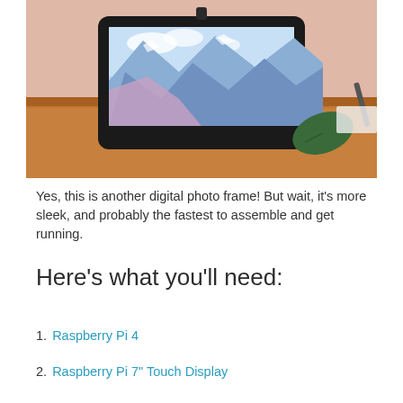[Figure (photo): A small digital photo frame with a black bezel sitting on a wooden table, displaying a mountain landscape with purple and blue hues. A green leaf is visible to the right and there is a pink wall in the background.]
Yes, this is another digital photo frame! But wait, it's more sleek, and probably the fastest to assemble and get running.
Here's what you'll need:
1. Raspberry Pi 4
2. Raspberry Pi 7" Touch Display